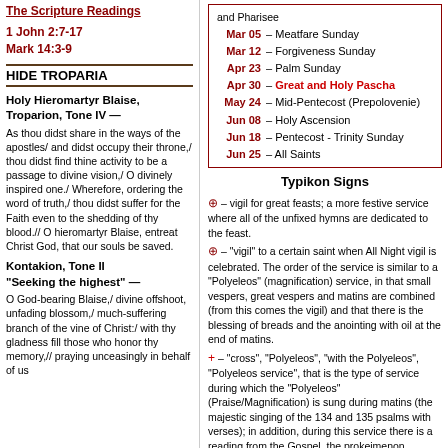The Scripture Readings
1 John 2:7-17
Mark 14:3-9
HIDE TROPARIA
Holy Hieromartyr Blaise, Troparion, Tone IV — As thou didst share in the ways of the apostles/ and didst occupy their throne,/ thou didst find thine activity to be a passage to divine vision,/ O divinely inspired one./ Wherefore, ordering the word of truth,/ thou didst suffer for the Faith even to the shedding of thy blood.// O hieromartyr Blaise, entreat Christ God, that our souls be saved.
Kontakion, Tone II "Seeking the highest" — O God-bearing Blaise,/ divine offshoot, unfading blossom,/ much-suffering branch of the vine of Christ:/ with thy gladness fill those who honor thy memory,// praying unceasingly in behalf of us
Mar 05 – Meatfare Sunday
Mar 12 – Forgiveness Sunday
Apr 23 – Palm Sunday
Apr 30 – Great and Holy Pascha
May 24 – Mid-Pentecost (Prepolovenie)
Jun 08 – Holy Ascension
Jun 18 – Pentecost - Trinity Sunday
Jun 25 – All Saints
Typikon Signs
⊕ – vigil for great feasts; a more festive service where all of the unfixed hymns are dedicated to the feast.
⊕ – "vigil" to a certain saint when All Night vigil is celebrated. The order of the service is similar to a "Polyeleos" (magnification) service, in that small vespers, great vespers and matins are combined (from this comes the vigil) and that there is the blessing of breads and the anointing with oil at the end of matins.
+ – "cross", "Polyeleos", "with the Polyeleos", "Polyeleos service", that is the type of service during which the "Polyeleos" (Praise/Magnification) is sung during matins (the majestic singing of the 134 and 135 psalms with verses); in addition, during this service there is a reading from the Gospel, the prokeimenon, gradual antiphons, the canon with 8 troparions, the praises and Great Doxology are sung, and